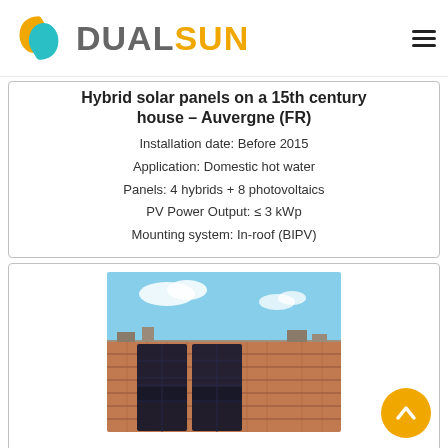DUALSUN
Hybrid solar panels on a 15th century house – Auvergne (FR)
Installation date: Before 2015
Application: Domestic hot water
Panels: 4 hybrids + 8 photovoltaics
PV Power Output: ≤ 3 kWp
Mounting system: In-roof (BIPV)
[Figure (photo): Photo of hybrid solar panels installed on a tiled roof of a 15th century house in Auvergne, France, showing dark solar panels integrated into traditional terracotta roof tiles with sky and rooftops in the background.]